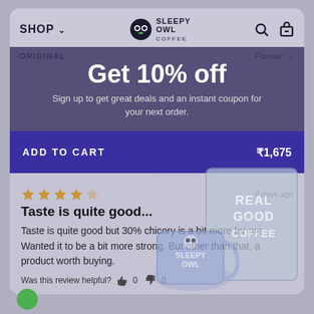SHOP ∨  [Sleepy Owl Coffee Logo]  🔍  🛒
Get 10% off
Sign up to get great deals and an instant coupon for your next order.
ORIGINAL    Flavour ∨
ADD TO CART  ₹1,675
★★★★☆  6 days ago
Taste is quite good...
Taste is quite good but 30% chicory is a bit more for me. Wanted it to be a bit more strong. But other than that, a product worth buying.
Was this review helpful? 👍 0  👎 0
[Figure (photo): Sleepy Owl Coffee product image showing a mug and a box labeled 'Real Good Coffee']